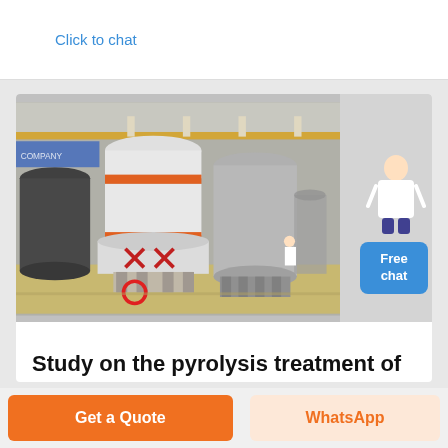Click to chat
[Figure (photo): Industrial grinding mill machinery in a large factory — tall cylindrical white and grey mill towers with orange accent rings, multiple units lined up in a manufacturing facility with overhead cranes]
Free chat
Study on the pyrolysis treatment of HPF desulfurization
Get a Quote
WhatsApp